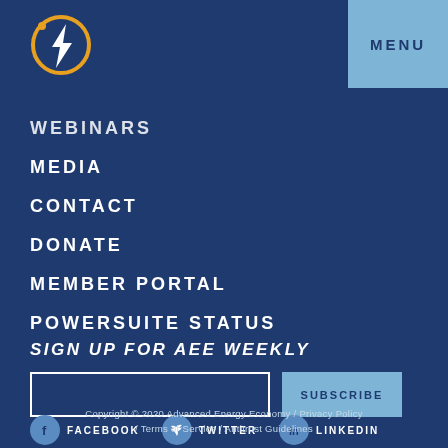[Figure (logo): AEE Advanced Energy Economy circular logo with lightning bolt, orange circle outline]
MENU
WEBINARS
MEDIA
CONTACT
DONATE
MEMBER PORTAL
POWERSUITE STATUS
SIGN UP FOR AEE WEEKLY
SUBSCRIBE
FACEBOOK
TWITTER
LINKEDIN
Copyright © 2020 Advanced Energy Economy / Privacy Policy / Terms of Service / Antitrust Guidelines